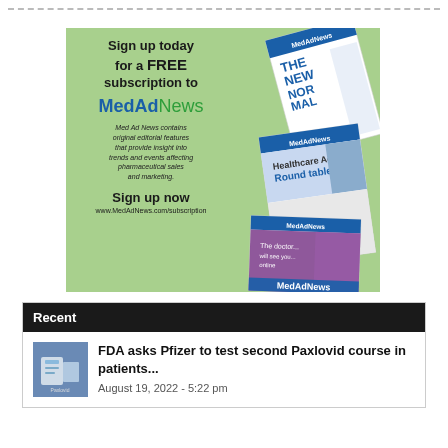[Figure (advertisement): MedAdNews subscription advertisement on green background. Text reads: Sign up today for a FREE subscription to MedAdNews. Med Ad News contains original editorial features that provide insight into trends and events affecting pharmaceutical sales and marketing. Sign up now www.MedAdNews.com/subscription. Magazine covers shown on right side.]
Recent
[Figure (photo): Small thumbnail image of Paxlovid medication]
FDA asks Pfizer to test second Paxlovid course in patients...
August 19, 2022 - 5:22 pm